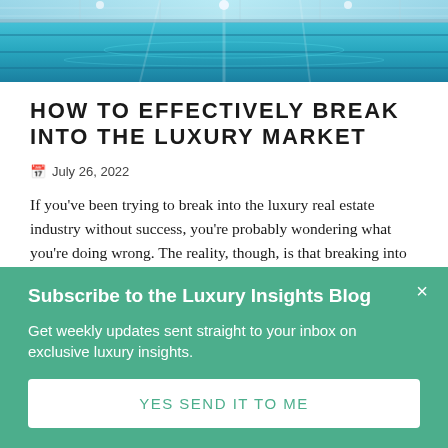[Figure (photo): Hero image showing a luxury pool or spa with blue water and ceiling lights from an aerial perspective]
HOW TO EFFECTIVELY BREAK INTO THE LUXURY MARKET
📅 July 26, 2022
If you've been trying to break into the luxury real estate industry without success, you're probably wondering what you're doing wrong. The reality, though, is that breaking into the luxury Read
Subscribe to the Luxury Insights Blog
Get weekly updates sent straight to your inbox on exclusive luxury insights.
YES SEND IT TO ME